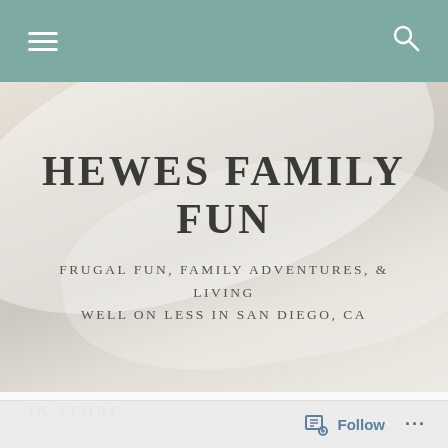Navigation bar with hamburger menu and search icon
HEWES FAMILY FUN
FRUGAL FUN, FAMILY ADVENTURES, & LIVING WELL ON LESS IN SAN DIEGO, CA
IN STORE
Follow ...